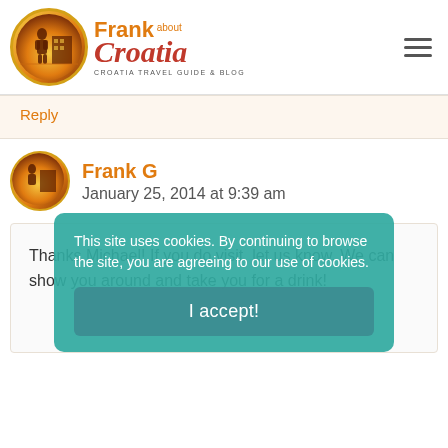[Figure (logo): Frank About Croatia logo — circular travel blog logo with text 'Frank about Croatia - Croatia Travel Guide & Blog']
Reply
Frank G
January 25, 2014 at 9:39 am
Thanks Michael! If you do visit, let us know. We can show you around and take you for a drink!
This site uses cookies. By continuing to browse the site, you are agreeing to our use of cookies.
I accept!